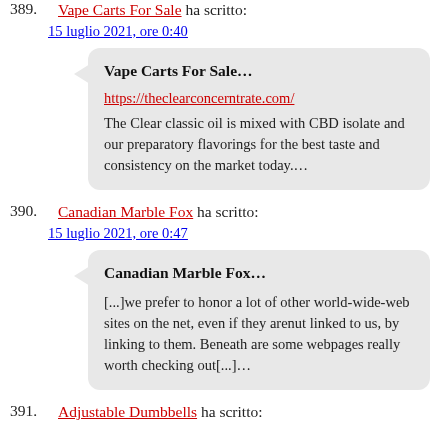389. Vape Carts For Sale ha scritto:
15 luglio 2021, ore 0:40
Vape Carts For Sale…
https://theclearconcerntrate.com/
The Clear classic oil is mixed with CBD isolate and our preparatory flavorings for the best taste and consistency on the market today….
390. Canadian Marble Fox ha scritto:
15 luglio 2021, ore 0:47
Canadian Marble Fox…
[...]we prefer to honor a lot of other world-wide-web sites on the net, even if they arenýt linked to us, by linking to them. Beneath are some webpages really worth checking out[...]…
391. Adjustable Dumbbells ha scritto: